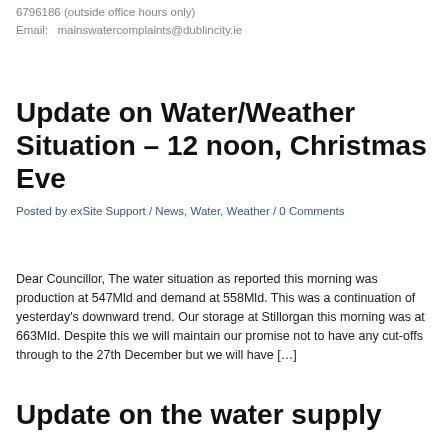6796186 (outside office hours only)
Email:   mainswatercomplaints@dublincity.ie
Update on Water/Weather Situation – 12 noon, Christmas Eve
Posted by exSite Support / News, Water, Weather / 0 Comments
Dear Councillor, The water situation as reported this morning was production at 547Mld and demand at 558Mld. This was a continuation of yesterday's downward trend. Our storage at Stillorgan this morning was at 663Mld. Despite this we will maintain our promise not to have any cut-offs through to the 27th December but we will have […]
Update on the water supply